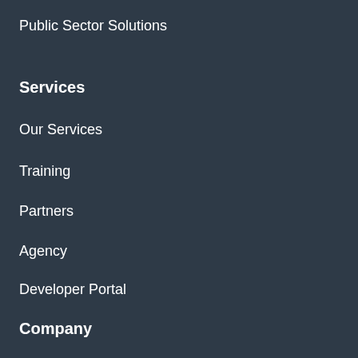Public Sector Solutions
Services
Our Services
Training
Partners
Agency
Developer Portal
Company
Our Story
Newsroom